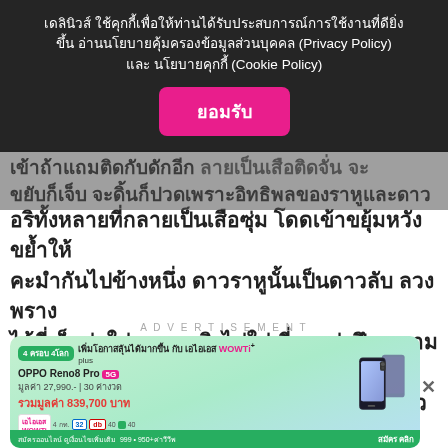เดลินิวส์ ใช้คุกกี้เพื่อให้ท่านได้รับประสบการณ์การใช้งานที่ดียิ่งขึ้น อ่านนโยบายคุ้มครองข้อมูลส่วนบุคคล (Privacy Policy) และ นโยบายคุกกี้ (Cookie Policy)
ยอมรับ
เข้าถ้าแถมติดกับดักอีกลายเป็นเสือติดจั่น จะขยับก็เจ็บ จะดิ้นก็ปวดเพราะอิทธิพลของราหูและดาวอริทั้งหลายที่กลายเป็นเสือซุ่ม โดดเข้าขยุ้มหวังขย้ำให้คะมำกันไปข้างหนึ่ง ดาวราหูนั้นเป็นดาวลับ ลวง พราง ไอ้ที่เห็นว่าใช่ ความจริงไม่ใช่ ที่บอกว่าปึก ความจริงแป้ก ทั้งหลอกทั้งลวงจนกระทั่งติดกับดัก ราหูตัวนั้มันแสบลึกแสบร้อนทำเอาเจ็บปวดรวดร้าว
ADVERTISEMENT
[Figure (screenshot): Advertisement banner for AIS WOWT+ featuring OPPO Reno8 Pro 5G. Price shown as 27,990 baht per 30 months, total value 839,700 baht. Green background with phone image.]